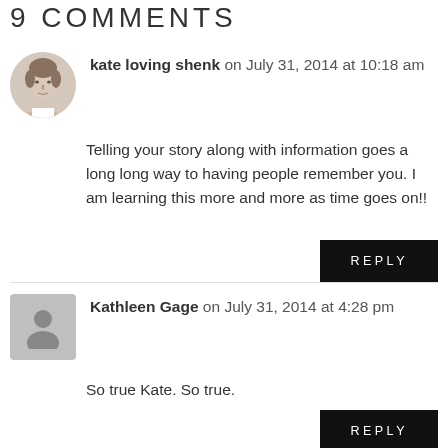9 COMMENTS
kate loving shenk on July 31, 2014 at 10:18 am
Telling your story along with information goes a long long way to having people remember you. I am learning this more and more as time goes on!!
REPLY
Kathleen Gage on July 31, 2014 at 4:28 pm
So true Kate. So true.
REPLY